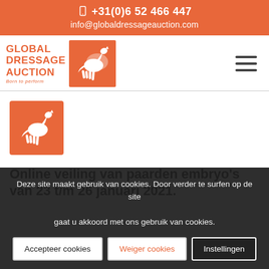+31(0)6 52 466 447  info@globaldressageauction.com
[Figure (logo): Global Dressage Auction logo with horse silhouette and tagline 'Born to perform']
[Figure (logo): Orange square with white horse icon]
Online veiling van paarden embryo’s van 23 t/m 26 januari 2021.
Deze site maakt gebruik van cookies. Door verder te surfen op de site gaat u akkoord met ons gebruik van cookies.